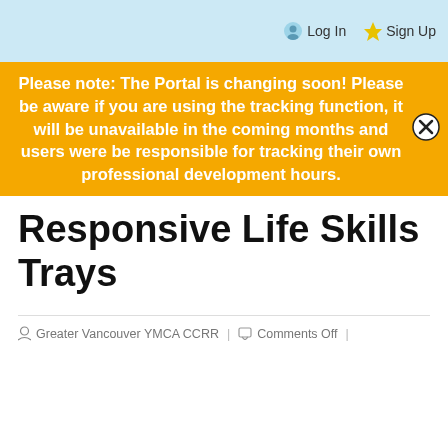Log In   Sign Up
Please note: The Portal is changing soon! Please be aware if you are using the tracking function, it will be unavailable in the coming months and users were be responsible for tracking their own professional development hours.
Responsive Life Skills Trays
Greater Vancouver YMCA CCRR | Comments Off |